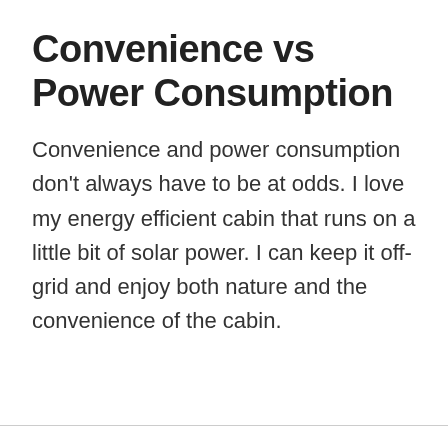Convenience vs Power Consumption
Convenience and power consumption don't always have to be at odds.  I love my energy efficient cabin that runs on a little bit of solar power.  I can keep it off-grid and enjoy both nature and the convenience of the cabin.